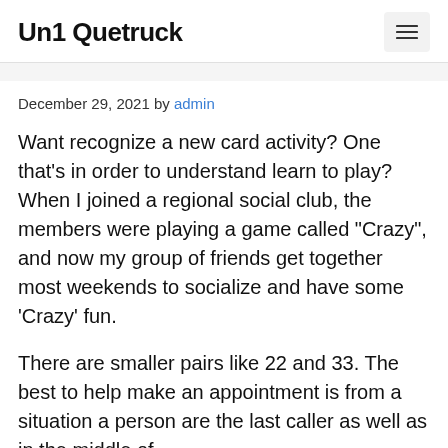Un1 Quetruck
December 29, 2021 by admin
Want recognize a new card activity? One that’s in order to understand learn to play? When I joined a regional social club, the members were playing a game called “Crazy”, and now my group of friends get together most weekends to socialize and have some ‘Crazy’ fun.
There are smaller pairs like 22 and 33. The best to help make an appointment is from a situation a person are the last caller as well as in the middle of the game considering first call and each one.